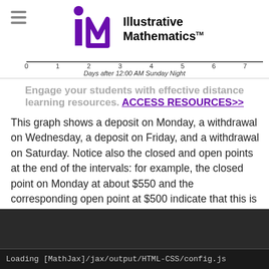Illustrative Mathematics
[Figure (other): X-axis number line labeled 0 through 7 with label 'Days after 12:00 AM Sunday Night']
Engage your students with effective distance learning resources. ACCESS RESOURCES>>
This graph shows a deposit on Monday, a withdrawal on Wednesday, a deposit on Friday, and a withdrawal on Saturday. Notice also the closed and open points at the end of the intervals: for example, the closed point on Monday at about $550 and the corresponding open point at $500 indicate that this is the moment when the deposit was made so that the account balance has changed at this instant on Monday.
Loading [MathJax]/jax/output/HTML-CSS/config.js